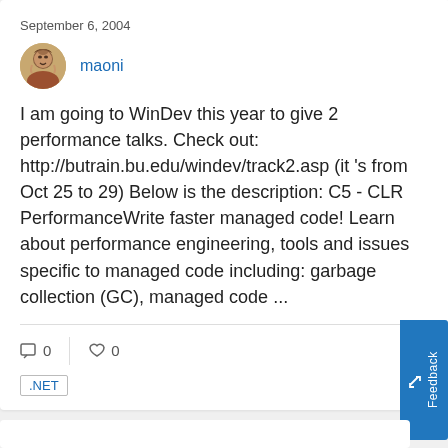September 6, 2004
maoni
I am going to WinDev this year to give 2 performance talks. Check out: http://butrain.bu.edu/windev/track2.asp (it 's from Oct 25 to 29) Below is the description: C5 - CLR PerformanceWrite faster managed code! Learn about performance engineering, tools and issues specific to managed code including: garbage collection (GC), managed code ...
0
0
.NET